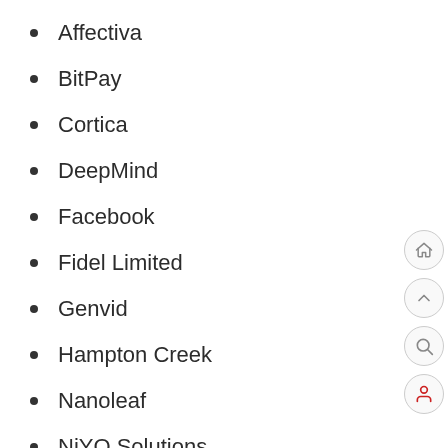Affectiva
BitPay
Cortica
DeepMind
Facebook
Fidel Limited
Genvid
Hampton Creek
Nanoleaf
NiYO Solutions
Razer
Spotify
Student.com